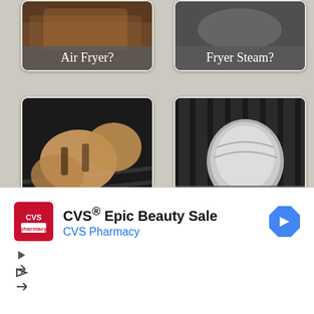[Figure (photo): Card partially visible: 'Air Fryer?' label on food photo]
[Figure (photo): Card partially visible: 'Fryer Steam?' label on food photo]
[Figure (photo): Grilled chicken quarters on grill with flames. Label: 'How Long To Grill Chicken Quarters']
[Figure (photo): Red snapper fillet in foil on grill. Label: 'How to Grill Red Snapper Fillets with Skin']
[Figure (photo): Two bread rolls on rack. Label: 'How To Smoke A Turkey Breast On A']
[Figure (photo): Bone-in chicken breast on grill. Label: 'How to Cook Bone in Chicken Breast']
CVS® Epic Beauty Sale
CVS Pharmacy